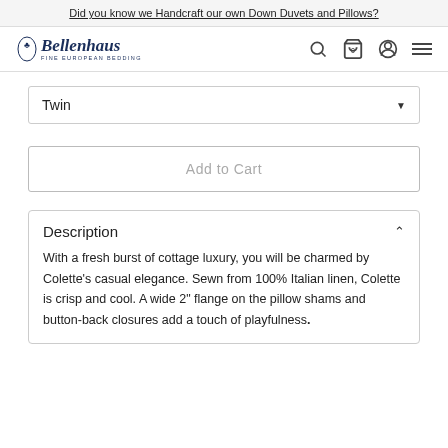Did you know we Handcraft our own Down Duvets and Pillows?
[Figure (logo): Bellenhaus Fine European Bedding logo with cursive script and small figure icon]
Twin
Add to Cart
Description
With a fresh burst of cottage luxury, you will be charmed by Colette's casual elegance. Sewn from 100% Italian linen, Colette is crisp and cool. A wide 2" flange on the pillow shams and button-back closures add a touch of playfulness.